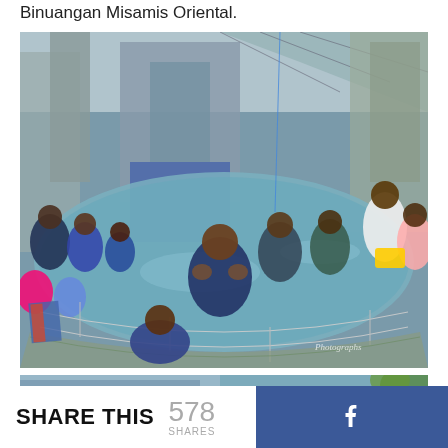Binuangan Misamis Oriental.
[Figure (photo): Outdoor pool with many people swimming and sitting around the edge, with a building structure in the background. A smiling woman in the center is the focal point. Metal railings curve around the pool. Watermark reads 'Photographs' in bottom right.]
[Figure (photo): Partial view of a second pool or water feature area, partially cut off at bottom of page.]
SHARE THIS 578 SHARES